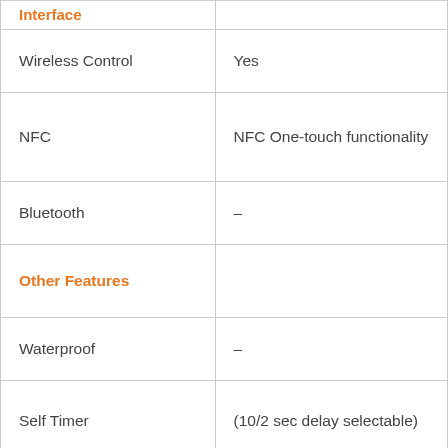| Feature | Value |
| --- | --- |
| Interface |  |
| Wireless Control | Yes |
| NFC | NFC One-touch functionality |
| Bluetooth | – |
| Other Features |  |
| Waterproof | – |
| Self Timer | (10/2 sec delay selectable) |
| Shutter |  |
| Shutter Type | Electronically controlled, vertical-traverse, focal-plane |